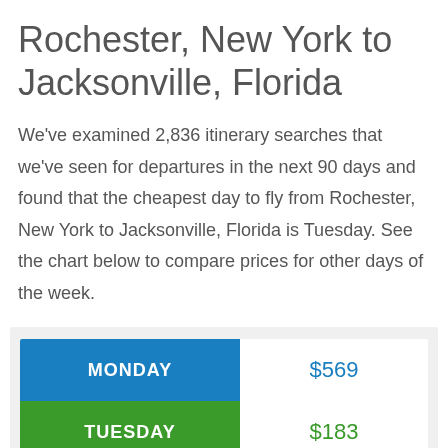Rochester, New York to Jacksonville, Florida
We've examined 2,836 itinerary searches that we've seen for departures in the next 90 days and found that the cheapest day to fly from Rochester, New York to Jacksonville, Florida is Tuesday. See the chart below to compare prices for other days of the week.
| Day | Price |
| --- | --- |
| MONDAY | $569 |
| TUESDAY | $183 |
| WEDNESDAY | $489 |